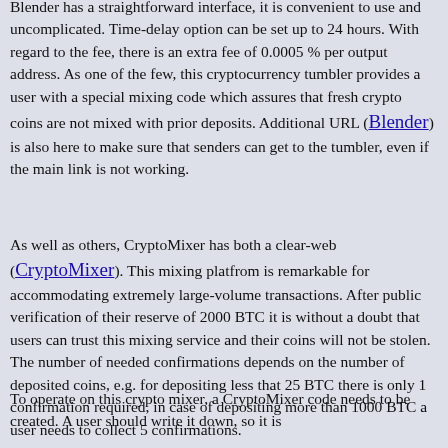Blender has a straightforward interface, it is convenient to use and uncomplicated. Time-delay option can be set up to 24 hours. With regard to the fee, there is an extra fee of 0.0005 % per output address. As one of the few, this cryptocurrency tumbler provides a user with a special mixing code which assures that fresh crypto coins are not mixed with prior deposits. Additional URL (Blender) is also here to make sure that senders can get to the tumbler, even if the main link is not working.
As well as others, CryptoMixer has both a clear-web (CryptoMixer). This mixing platfrom is remarkable for accommodating extremely large-volume transactions. After public verification of their reserve of 2000 BTC it is without a doubt that users can trust this mixing service and their coins will not be stolen. The number of needed confirmations depends on the number of deposited coins, e.g. for depositing less that 25 BTC there is only 1 confirmation required, in case of depositing more than 1000 BTC a user needs to collect 5 confirmations.
To operate on this crypto mixer, a CryptoMixer code needs to be created. A user should write it down, so it is